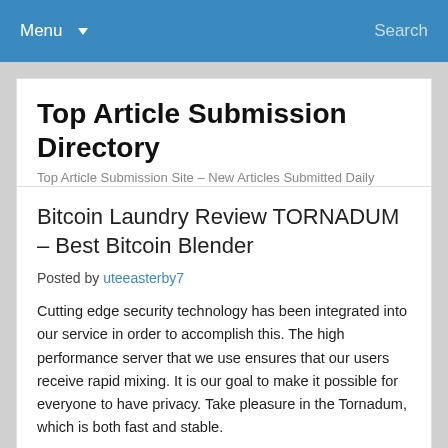Menu  Search
Top Article Submission Directory
Top Article Submission Site – New Articles Submitted Daily
Bitcoin Laundry Review TORNADUM – Best Bitcoin Blender
Posted by uteeasterby7
Cutting edge security technology has been integrated into our service in order to accomplish this. The high performance server that we use ensures that our users receive rapid mixing. It is our goal to make it possible for everyone to have privacy. Take pleasure in the Tornadum, which is both fast and stable.
Those coins tell a story about who you are and where you live, but also about your holdings and what you purchase with them. Merchant require personal identification as well as shipping and receiving addresses. Let that sink in for a moment.